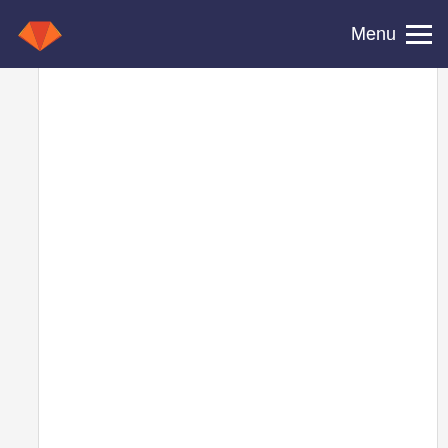Menu
update organism > tx_nG6_organism
Jerome Mariette committed 8 years ago
add right management
Jerome Mariette committed 10 years ago